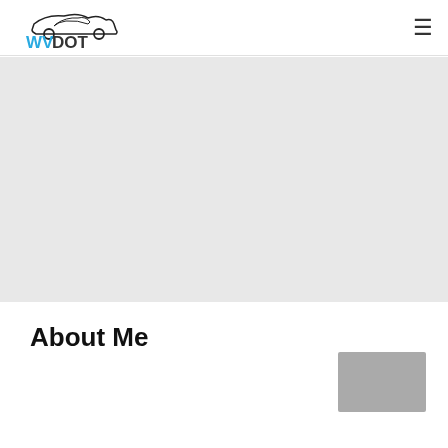WVDOT
[Figure (illustration): Large light grey hero/banner area placeholder below the navigation header]
About Me
[Figure (photo): Small grey avatar/profile image placeholder in the lower right area]